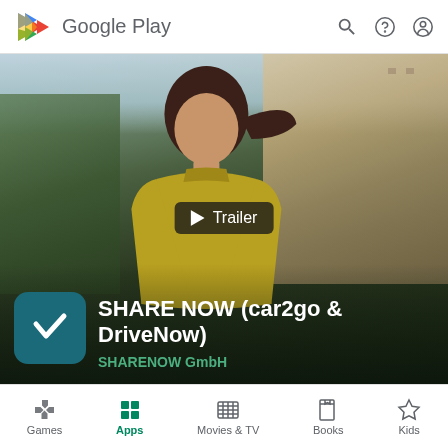Google Play
[Figure (screenshot): Google Play Store page for SHARE NOW (car2go & DriveNow) app by SHARENOW GmbH. Shows a woman in a yellow turtleneck in a city street with a Trailer play button overlay, and the app icon (teal background with white checkmark).]
SHARE NOW (car2go & DriveNow)
SHARENOW GmbH
Games  Apps  Movies & TV  Books  Kids